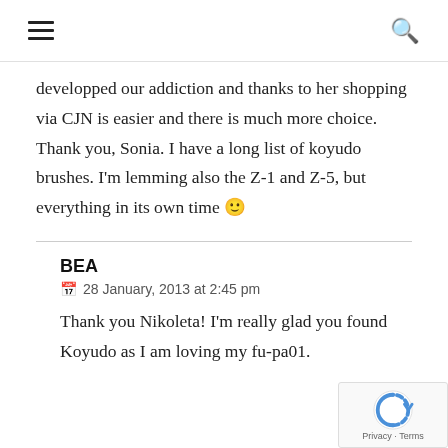☰ 🔍
developped our addiction and thanks to her shopping via CJN is easier and there is much more choice. Thank you, Sonia. I have a long list of koyudo brushes. I'm lemming also the Z-1 and Z-5, but everything in its own time 🙂
BEA
28 January, 2013 at 2:45 pm
Thank you Nikoleta! I'm really glad you found Koyudo as I am loving my fu-pa01.